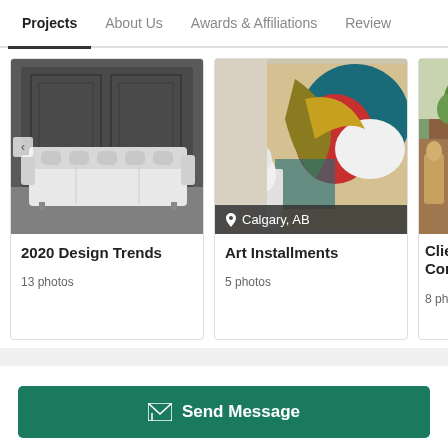Projects | About Us | Awards & Affiliations | Review
[Figure (photo): Interior room with white tufted Chesterfield sofa against dark paneled wall]
2020 Design Trends
13 photos
[Figure (photo): Art gallery room with colorful abstract painting and white sculpture, location tag Calgary, AB]
Art Installments
5 photos
[Figure (photo): Partial view of a room with greenery, partially cropped]
Clie
Cor
8 ph
Established in 1980, the main focus of Robert Sweep has been to bring the finest in home furnishings to the Cal…